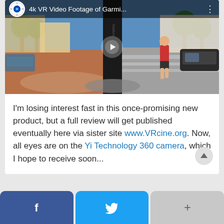[Figure (screenshot): Video thumbnail of a 360-degree VR street scene showing an urban intersection with a tall black cylindrical object in the center, a man in a red shirt walking, buildings in the background, and a play button overlay. Top bar shows '4k VR Video Footage of Garmi...' title with a camera icon.]
I'm losing interest fast in this once-promising new product, but a full review will get published eventually here via sister site www.VRcine.org. Now, all eyes are on the Yi Technology 360 camera, which I hope to receive soon...
[Figure (infographic): Social sharing bar with three buttons: Facebook (dark blue with f icon), Twitter (light blue with bird icon), and More/plus (gray with + icon)]